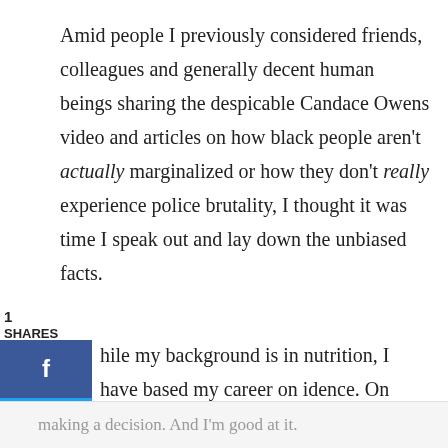Amid people I previously considered friends, colleagues and generally decent human beings sharing the despicable Candace Owens video and articles on how black people aren't actually marginalized or how they don't really experience police brutality, I thought it was time I speak out and lay down the unbiased facts.
1
SHARES
[Figure (other): Social media share buttons: Facebook (blue), Twitter (light blue), Pinterest (red)]
hile my background is in nutrition, I have based my career on idence. On history. I have never relied solely on studies, trends anecdotal data to draw conclusions. I rely on a combination of all of these things; as well as chronicles of the past, what has and has not proven effective for generations, mixed in with sound scientific data. I like to attack ideas from all angles prior to
making a decision. And I'm good at it.